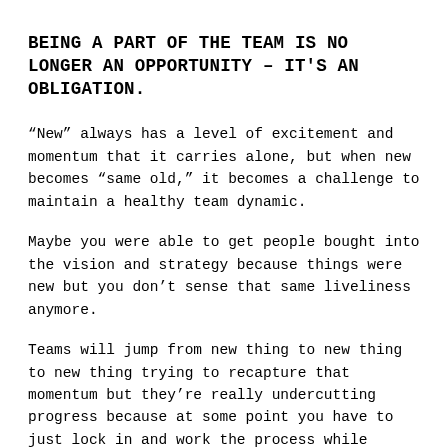BEING A PART OF THE TEAM IS NO LONGER AN OPPORTUNITY – IT'S AN OBLIGATION.
“New” always has a level of excitement and momentum that it carries alone, but when new becomes “same old,” it becomes a challenge to maintain a healthy team dynamic.
Maybe you were able to get people bought into the vision and strategy because things were new but you don’t sense that same liveliness anymore.
Teams will jump from new thing to new thing to new thing trying to recapture that momentum but they’re really undercutting progress because at some point you have to just lock in and work the process while